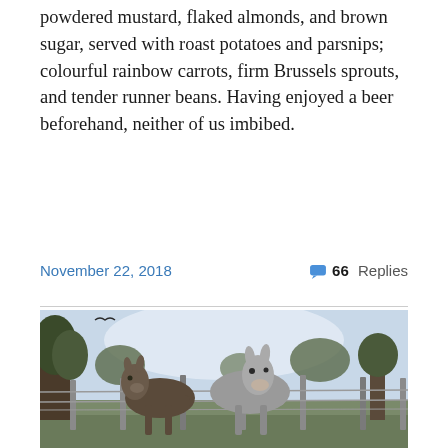powdered mustard, flaked almonds, and brown sugar, served with roast potatoes and parsnips; colourful rainbow carrots, firm Brussels sprouts, and tender runner beans. Having enjoyed a beer beforehand, neither of us imbibed.
November 22, 2018
66 Replies
[Figure (photo): Photograph of donkeys or horses behind a wire fence in a rural outdoor setting with trees in the background on a bright day.]